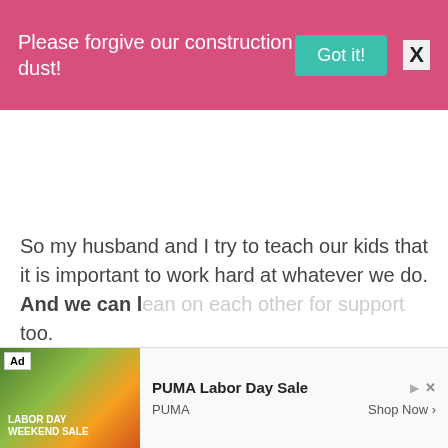Please forgive our construction dust! Got it! X
So my husband and I try to teach our kids that it is important to work hard at whatever we do. And we can l... too.
[Figure (screenshot): PUMA Labor Day Sale advertisement banner with outdoor image, Ad label, play and close controls, PUMA brand name and Shop Now button]